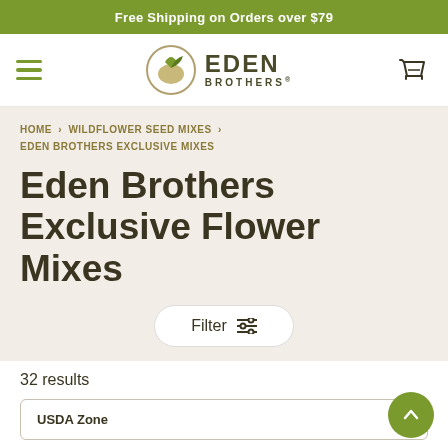Free Shipping on Orders over $79
[Figure (logo): Eden Brothers logo with leaf icon and company name]
HOME > WILDFLOWER SEED MIXES > EDEN BROTHERS EXCLUSIVE MIXES
Eden Brothers Exclusive Flower Mixes
Filter
32 results
USDA Zone